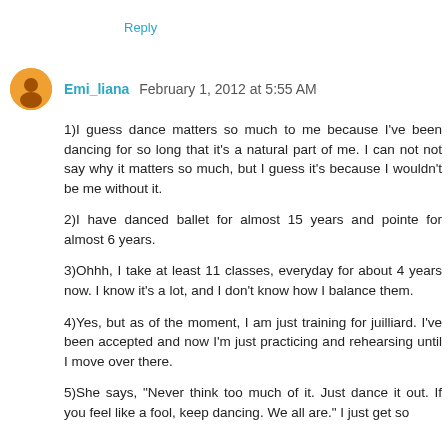Reply
Emi_liana  February 1, 2012 at 5:55 AM
1)I guess dance matters so much to me because I've been dancing for so long that it's a natural part of me. I can not not say why it matters so much, but I guess it's because I wouldn't be me without it.
2)I have danced ballet for almost 15 years and pointe for almost 6 years.
3)Ohhh, I take at least 11 classes, everyday for about 4 years now. I know it's a lot, and I don't know how I balance them.
4)Yes, but as of the moment, I am just training for juilliard. I've been accepted and now I'm just practicing and rehearsing until I move over there.
5)She says, "Never think too much of it. Just dance it out. If you feel like a fool, keep dancing. We all are." I just get so